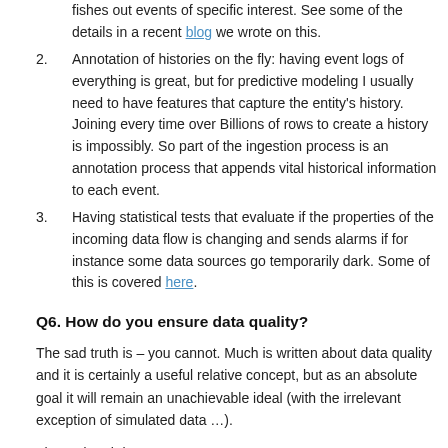fishes out events of specific interest. See some of the details in a recent blog we wrote on this.
Annotation of histories on the fly: having event logs of everything is great, but for predictive modeling I usually need to have features that capture the entity's history. Joining every time over Billions of rows to create a history is impossibly. So part of the ingestion process is an annotation process that appends vital historical information to each event.
Having statistical tests that evaluate if the properties of the incoming data flow is changing and sends alarms if for instance some data sources go temporarily dark. Some of this is covered here.
Q6. How do you ensure data quality?
The sad truth is – you cannot. Much is written about data quality and it is certainly a useful relative concept, but as an absolute goal it will remain an unachievable ideal (with the irrelevant exception of simulated data …).
The sad truth is – you cannot...